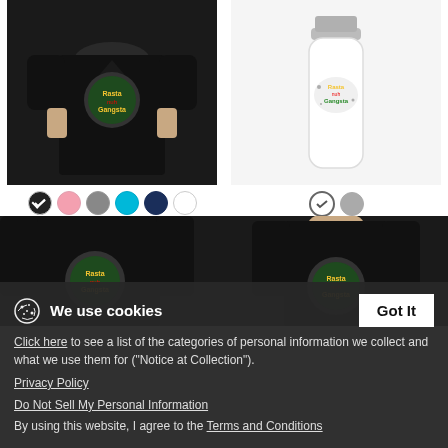[Figure (photo): Woman wearing black V-Neck T-Shirt with Rasta nuh Gangsta logo]
[Figure (photo): White water bottle with Rasta nuh Gangsta logo and silver cap]
Rasta nuh Gangsta - Women's V-Neck T-Shirt
$26.99
Rasta nuh Gangsta - Water Bottle
$21.49
[Figure (photo): Partial view of black long sleeve shirt with Rasta nuh Gangsta logo]
[Figure (photo): Partial view of man in black long sleeve shirt with Rasta nuh Gangsta logo]
We use cookies
Click here to see a list of the categories of personal information we collect and what we use them for ("Notice at Collection").
Privacy Policy
Do Not Sell My Personal Information
By using this website, I agree to the Terms and Conditions